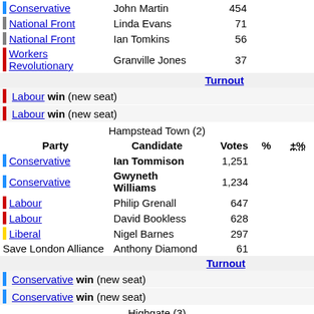| Party | Candidate | Votes | % | ±% |
| --- | --- | --- | --- | --- |
| Conservative | John Martin | 454 |  |  |
| National Front | Linda Evans | 71 |  |  |
| National Front | Ian Tomkins | 56 |  |  |
| Workers Revolutionary | Granville Jones | 37 |  |  |
| Turnout |  |  |  |  |
Labour win (new seat)
Labour win (new seat)
Hampstead Town (2)
| Party | Candidate | Votes | % | ±% |
| --- | --- | --- | --- | --- |
| Conservative | Ian Tommison | 1,251 |  |  |
| Conservative | Gwyneth Williams | 1,234 |  |  |
| Labour | Philip Grenall | 647 |  |  |
| Labour | David Bookless | 628 |  |  |
| Liberal | Nigel Barnes | 297 |  |  |
| Save London Alliance | Anthony Diamond | 61 |  |  |
| Turnout |  |  |  |  |
Conservative win (new seat)
Conservative win (new seat)
Highgate (3)